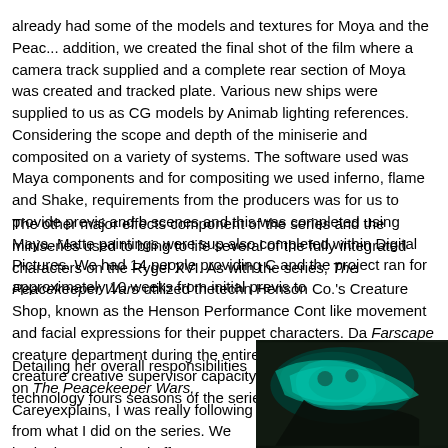already had some of the models and textures for Moya and the Peac... addition, we created the final shot of the film where a camera track supplied and a complete rear section of Moya was created and tracked plate. Various new ships were supplied to us as CG models by Animab lighting references. Considering the scope and depth of the miniserie and composited on a variety of systems. The software used was Maya components and for compositing we used inferno, flame and Shake, requirements from the producers was for us to provide previs and b scenes and this was completed using Maya. Matte paintings were sup also completed within Digital Pictures. We had 14 people providing C and the project ran for approximately 10 weeks from initial previs to
The other major effects component of the series and the miniseries used to bring to life several of the fully integrated characters on the Rygel XVI. As with the series, The Peacekeeper Wars utilized thetechn Henson Co.'s Creature Shop, known as the Henson Performance Cont like movement and facial expressions for their puppet characters. Da Farscape creature department during the entire run of the series, re creature creative supervisor capacity again employing the technology fours seasons of the series.
Detailing her overall responsibilities on The Peacekeeper Wars, Careyexplains, I was really following from what I did on the series. We had a lot more visual effects per hour of
[Figure (photo): Dark image showing a creature or puppet character from Farscape with teal/cyan colored features against a very dark background]